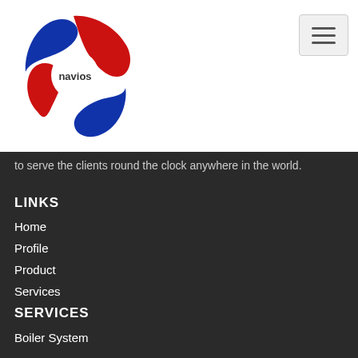[Figure (logo): Navios company logo — circular swoosh design in red, white, and blue with 'navios' text in the center]
to serve the clients round the clock anywhere in the world.
LINKS
Home
Profile
Product
Services
Global Partners
Contact
SERVICES
Boiler System